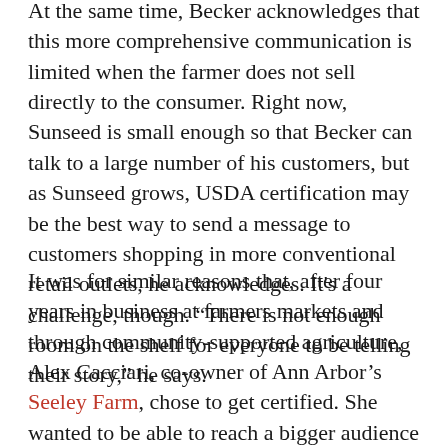At the same time, Becker acknowledges that this more comprehensive communication is limited when the farmer does not sell directly to the consumer. Right now, Sunseed is small enough so that Becker can talk to a large number of his customers, but as Sunseed grows, USDA certification may be the best way to send a message to customers shopping in more conventional retail outlets, he acknowledges. It's a challenge, though. "There is not enough room on the shelf for everyone to be telling their story," he says.
It was for similar reasons that, after four years in business at farmers markets and through community-supported agriculture, Alex Cacciari, co-owner of Ann Arbor's Seeley Farm, chose to get certified. She wanted to be able to reach a bigger audience through retail and grocery stores. "The USDA symbol is a really readable...